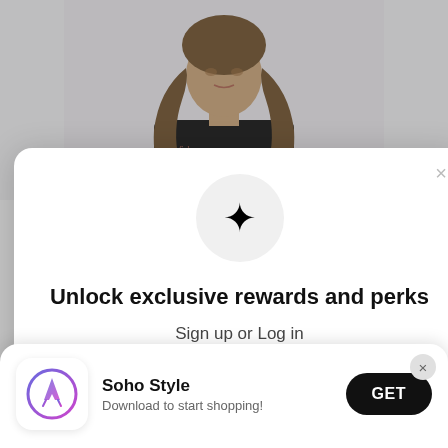[Figure (photo): Woman with long wavy brown hair wearing a black top, with 'Soho Style' signature/logo on the shirt, against a light grey background.]
×
Unlock exclusive rewards and perks
Sign up or Log in
[Figure (other): Pink rounded rectangle button (partially visible)]
×
[Figure (logo): App Store icon with blue/purple gradient circle and swift/compass logo inside]
Soho Style
Download to start shopping!
GET